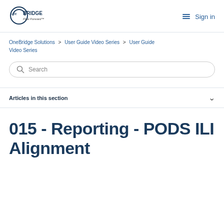[Figure (logo): oneBRIDGE Flow Forward logo with circular icon on left and text on right]
Sign in
OneBridge Solutions > User Guide Video Series > User Guide Video Series
Search
Articles in this section
015 - Reporting - PODS ILI Alignment